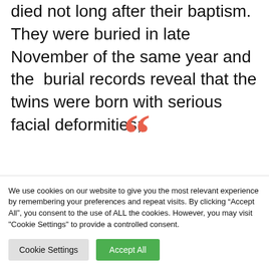died not long after their baptism. They were buried in late November of the same year and the burial records reveal that the twins were born with serious facial deformities;
[Figure (illustration): Large decorative coral/salmon-colored open quotation mark symbol]
The above twins when born had no
We use cookies on our website to give you the most relevant experience by remembering your preferences and repeat visits. By clicking “Accept All”, you consent to the use of ALL the cookies. However, you may visit "Cookie Settings" to provide a controlled consent.